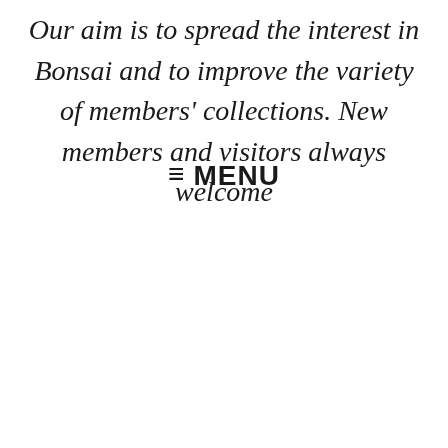Our aim is to spread the interest in Bonsai and to improve the variety of members' collections. New members and visitors always welcome
≡ MENU